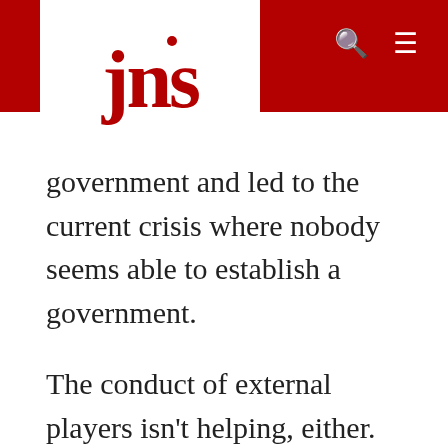jns
government and led to the current crisis where nobody seems able to establish a government.
The conduct of external players isn't helping, either. Western countries, together with Arab Sunni countries, want to prevent Hezbollah and their allies from having any significant role in the government; whereas Hezbollah (supported by Iran, Syria and Russia) continues to take advantage of its power and the power of its allies in parliament to thwart the establishment of any government that would threaten their